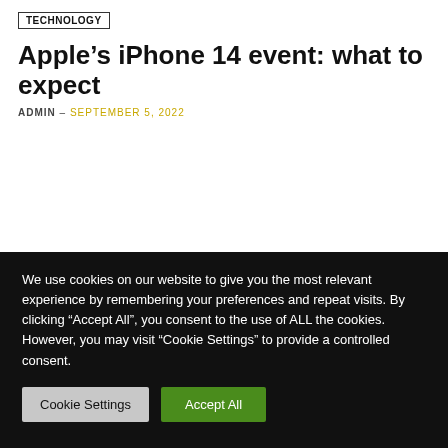TECHNOLOGY
Apple’s iPhone 14 event: what to expect
ADMIN – SEPTEMBER 5, 2022
We use cookies on our website to give you the most relevant experience by remembering your preferences and repeat visits. By clicking “Accept All”, you consent to the use of ALL the cookies. However, you may visit “Cookie Settings” to provide a controlled consent.
Cookie Settings | Accept All